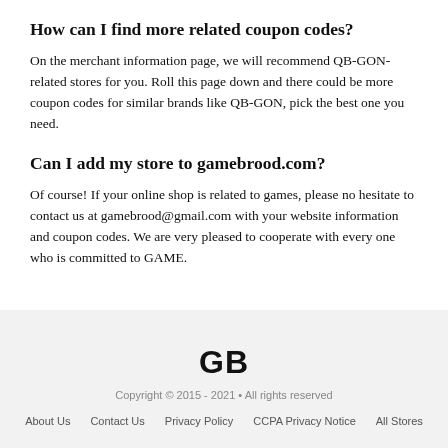How can I find more related coupon codes?
On the merchant information page, we will recommend QB-GON-related stores for you. Roll this page down and there could be more coupon codes for similar brands like QB-GON, pick the best one you need.
Can I add my store to gamebrood.com?
Of course! If your online shop is related to games, please no hesitate to contact us at gamebrood@gmail.com with your website information and coupon codes. We are very pleased to cooperate with every one who is committed to GAME.
[Figure (logo): GB logo text in bold]
Copyright © 2015 - 2021 • All rights reserved
About Us    Contact Us    Privacy Policy    CCPA Privacy Notice    All Stores